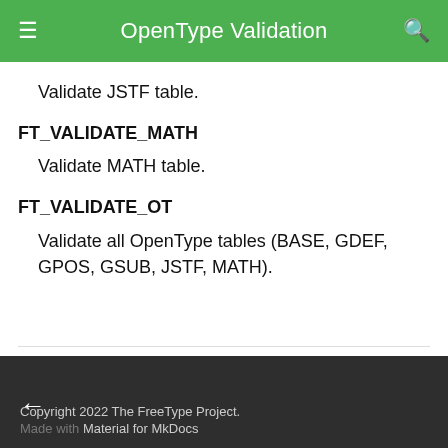OpenType Validation
Validate JSTF table.
FT_VALIDATE_MATH
Validate MATH table.
FT_VALIDATE_OT
Validate all OpenType tables (BASE, GDEF, GPOS, GSUB, JSTF, MATH).
Copyright 2022 The FreeType Project. Made with Material for MkDocs